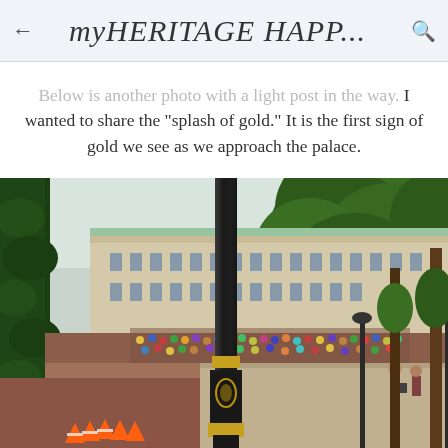myHERITAGE HAPP...
Below is another photo with a light post in the way. I wanted to share the "splash of gold." It is the first sign of gold we see as we approach the palace.
[Figure (photo): Outdoor photo near Buckingham Palace showing a decorative black and gold lamp post in the foreground, trees on the right, a large classical building in the background, and a crowd of people gathered on a red-paved open area. Orange traffic cones are visible at the bottom left.]